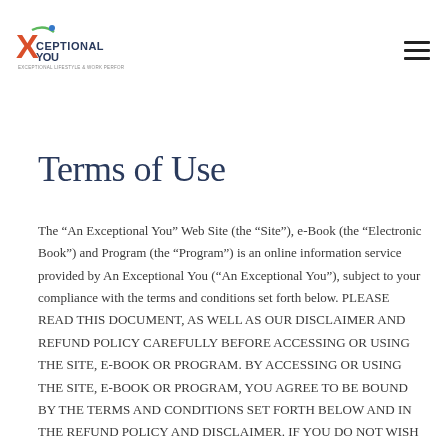[Figure (logo): XceptionalYou logo with X figure and tagline 'Exceptional Lifestyle & Work Performance']
Terms of Use
The “An Exceptional You” Web Site (the “Site”), e-Book (the “Electronic Book”) and Program (the “Program”) is an online information service provided by An Exceptional You (“An Exceptional You”), subject to your compliance with the terms and conditions set forth below. PLEASE READ THIS DOCUMENT, AS WELL AS OUR DISCLAIMER AND REFUND POLICY CAREFULLY BEFORE ACCESSING OR USING THE SITE, E-BOOK OR PROGRAM. BY ACCESSING OR USING THE SITE, E-BOOK OR PROGRAM, YOU AGREE TO BE BOUND BY THE TERMS AND CONDITIONS SET FORTH BELOW AND IN THE REFUND POLICY AND DISCLAIMER. IF YOU DO NOT WISH TO BE BOUND BY THESE